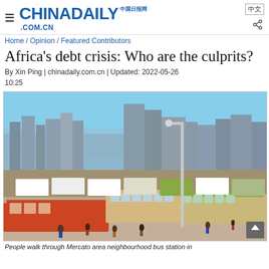CHINADAILY 中国日报网 .COM.CN
Home / Opinion / Featured Contributors
Africa's debt crisis: Who are the culprits?
By Xin Ping | chinadaily.com.cn | Updated: 2022-05-26 10:25
[Figure (photo): Aerial view of a busy urban bus station in an African city with many buses and minivans, people walking, and a city skyline with modern buildings in the background under a blue sky.]
People walk through Mercato area neighbourhood bus station in